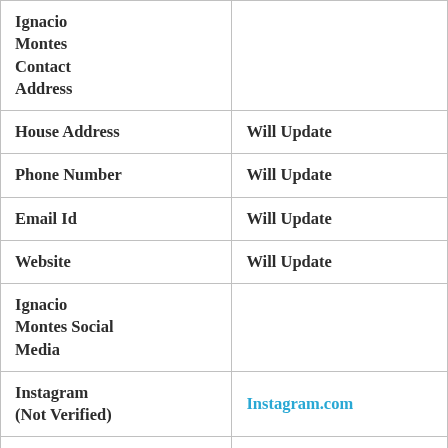| Ignacio Montes Contact Address |  |
| House Address | Will Update |
| Phone Number | Will Update |
| Email Id | Will Update |
| Website | Will Update |
| Ignacio Montes Social Media |  |
| Instagram (Not Verified) | Instagram.com |
| Facebook (Not | Facebook.com |